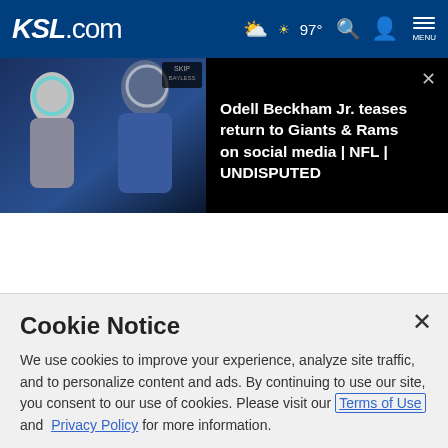KSL.com — 97° weather, search, account, menu
[Figure (screenshot): Video thumbnail showing NFL players in blue uniforms with a black background, with Skip Bayless badge in corner]
Odell Beckham Jr. teases return to Giants & Rams on social media | NFL | UNDISPUTED
We use cookies to improve your experience, analyze site traffic, and to personalize content and ads. By continuing to use our site, you consent to our use of cookies. Please visit our Terms of Use and Privacy Policy for more information.
Cookie Notice